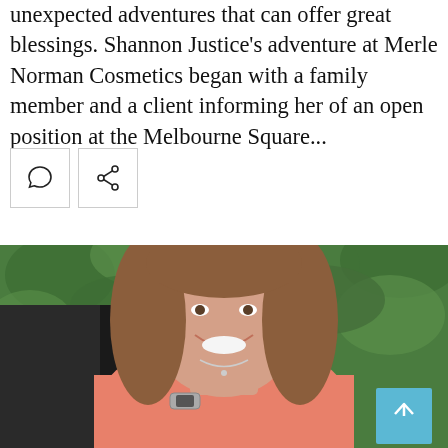unexpected adventures that can offer great blessings. Shannon Justice's adventure at Merle Norman Cosmetics began with a family member and a client informing her of an open position at the Melbourne Square...
[Figure (other): Two social UI buttons: a comment bubble icon and a share/network icon, each in a square outlined box]
[Figure (photo): A smiling woman with shoulder-length brown hair, wearing a pink top and holding a dark jacket over her shoulder. She wears a silver watch and ring. Background is green leafy foliage.]